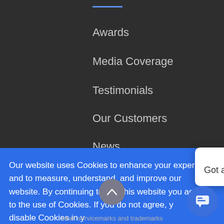Awards
Media Coverage
Testimonials
Our Customers
News
Our website uses Cookies to enhance your experience and to measure, understand, and improve our website. By continuing to use this website you agree to the use of Cookies. If you do not agree, you can disable Cookies in your browser.
Learn More About C...
Got it!
[Figure (screenshot): Chat widget popup with avatar icon at top, close X button, and message 'Got any questions? I'm happy to help.']
other servicemarks and trademarks